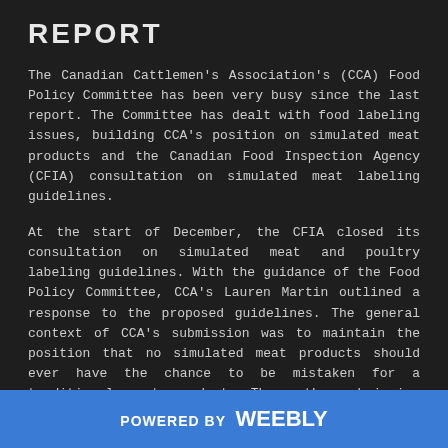REPORT
The Canadian Cattlemen's Association's (CCA) Food Policy Committee has been very busy since the last report. The Committee has dealt with food labeling issues, building CCA's position on simulated meat products and the Canadian Food Inspection Agency (CFIA) consultation on simulated meat labeling guidelines.
At the start of December, the CFIA closed its consultation on simulated meat and poultry labeling guidelines. With the guidance of the Food Policy Committee, CCA's Lauren Martin outlined a response to the proposed guidelines. The general context of CCA's submission was to maintain the position that no simulated meat products should ever have the chance to be mistaken for a traditional meat product. Thus, the submission outlined that our position was that simulated meat products should not be allowed to use
POWERED BY weebly